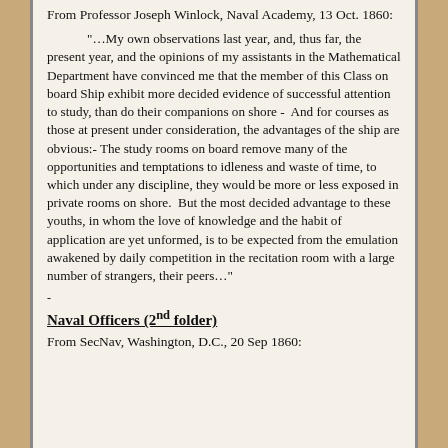From Professor Joseph Winlock, Naval Academy, 13 Oct. 1860:
"…My own observations last year, and, thus far, the present year, and the opinions of my assistants in the Mathematical Department have convinced me that the member of this Class on board Ship exhibit more decided evidence of successful attention to study, than do their companions on shore -  And for courses as those at present under consideration, the advantages of the ship are obvious:- The study rooms on board remove many of the opportunities and temptations to idleness and waste of time, to which under any discipline, they would be more or less exposed in private rooms on shore.  But the most decided advantage to these youths, in whom the love of knowledge and the habit of application are yet unformed, is to be expected from the emulation awakened by daily competition in the recitation room with a large number of strangers, their peers…"
-
Naval Officers (2nd folder)
From SecNav, Washington, D.C., 20 Sep 1860: